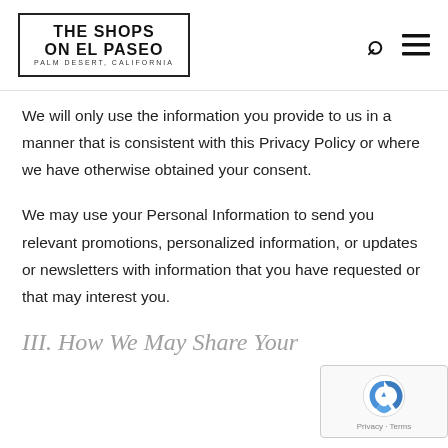THE SHOPS ON EL PASEO — PALM DESERT, CALIFORNIA
We will only use the information you provide to us in a manner that is consistent with this Privacy Policy or where we have otherwise obtained your consent.
We may use your Personal Information to send you relevant promotions, personalized information, or updates or newsletters with information that you have requested or that may interest you.
III. How We May Share Your